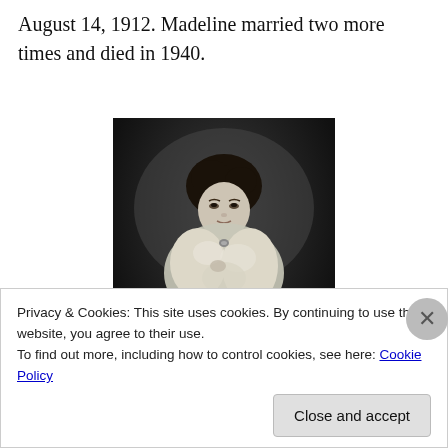August 14, 1912. Madeline married two more times and died in 1940.
[Figure (photo): Black and white historical portrait photograph of a woman in Victorian-era clothing, wearing a light-colored fur or feathered wrap, with her hair up, standing next to an ornate chair.]
Privacy & Cookies: This site uses cookies. By continuing to use this website, you agree to their use.
To find out more, including how to control cookies, see here: Cookie Policy
Close and accept